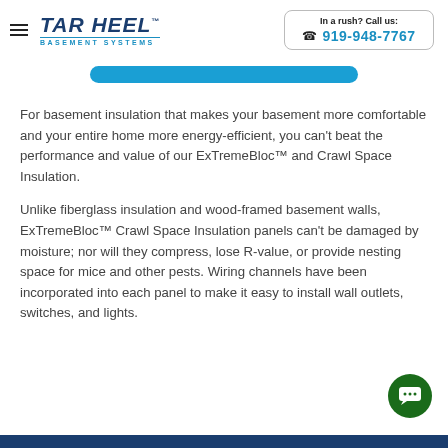TAR HEEL BASEMENT SYSTEMS | In a rush? Call us: 919-948-7767
[Figure (other): Blue rounded button/bar partially visible at top of content area]
For basement insulation that makes your basement more comfortable and your entire home more energy-efficient, you can't beat the performance and value of our ExTremeBloc™ and Crawl Space Insulation.
Unlike fiberglass insulation and wood-framed basement walls, ExTremeBloc™ Crawl Space Insulation panels can't be damaged by moisture; nor will they compress, lose R-value, or provide nesting space for mice and other pests. Wiring channels have been incorporated into each panel to make it easy to install wall outlets, switches, and lights.